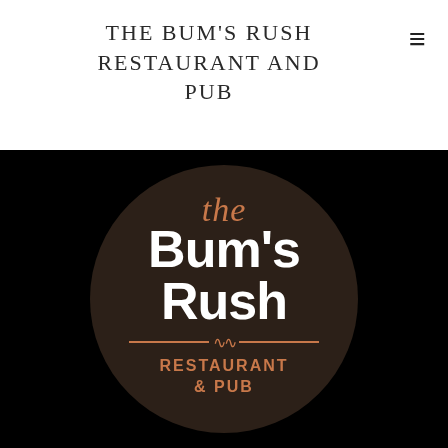THE BUM'S RUSH RESTAURANT AND PUB
[Figure (logo): The Bum's Rush Restaurant & Pub circular logo on black background. Dark brown circle with 'the' in copper italic script, 'Bum's Rush' in large bold white text, a copper divider line with wavy symbol, and 'RESTAURANT & PUB' in copper uppercase bold text.]